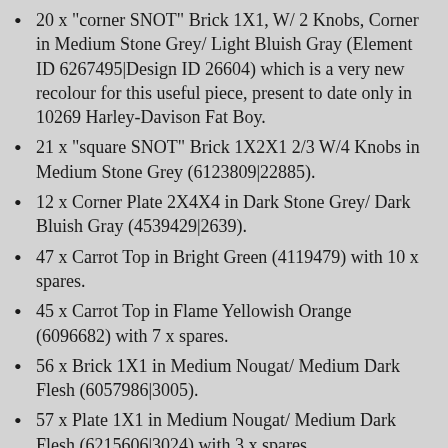20 x "corner SNOT" Brick 1X1, W/ 2 Knobs, Corner in Medium Stone Grey/ Light Bluish Gray (Element ID 6267495|Design ID 26604) which is a very new recolour for this useful piece, present to date only in 10269 Harley-Davison Fat Boy.
21 x "square SNOT" Brick 1X2X1 2/3 W/4 Knobs in Medium Stone Grey (6123809|22885).
12 x Corner Plate 2X4X4 in Dark Stone Grey/ Dark Bluish Gray (4539429|2639).
47 x Carrot Top in Bright Green (4119479) with 10 x spares.
45 x Carrot Top in Flame Yellowish Orange (6096682) with 7 x spares.
56 x Brick 1X1 in Medium Nougat/ Medium Dark Flesh (6057986|3005).
57 x Plate 1X1 in Medium Nougat/ Medium Dark Flesh (6215606|3024) with 3 x spares.
29 Plate 1X2 in Dark Orange (6218360|3023).
30 x "telescope" Stick Ø3.2 2Mm W/Knob And Tube